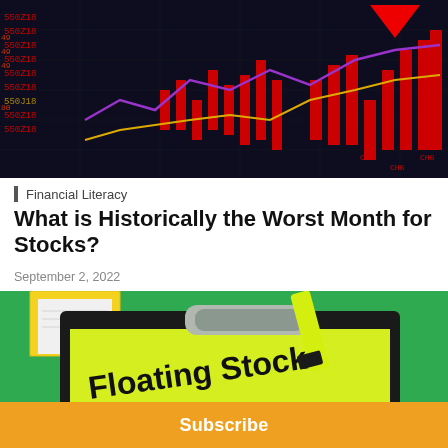[Figure (photo): Stock market chart with red candlestick bars, downward red arrow, and colored lines on a dark background with ticker symbols like 550Z18 visible on the left side.]
Financial Literacy
What is Historically the Worst Month for Stocks?
September 2, 2022
[Figure (photo): Clipboard on green background with yellow sticky note reading 'Floating Stock', yellow highlighter marker, and notebook visible.]
Subscribe